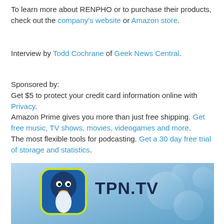To learn more about RENPHO or to purchase their products, check out the company's website or Amazon store.
Interview by Todd Cochrane of Geek News Central.
Sponsored by:
Get $5 to protect your credit card information online with Privacy.
Amazon Prime gives you more than just free shipping. Get free music, TV shows, movies, videogames and more.
The most flexible tools for podcasting. Get a 30 day free trial of storage and statistics.
[Figure (illustration): TPN.TV banner image with a blue cartoon bird/penguin logo and the text TPN.TV in bold dark letters on a blue background with decorative circles]